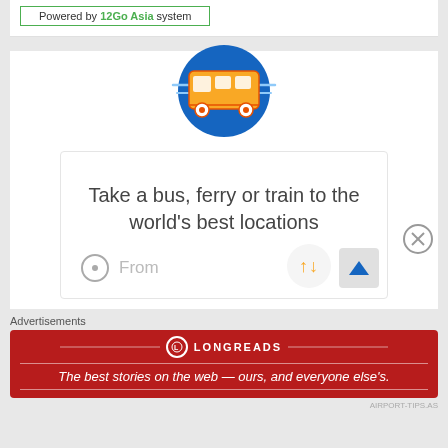Powered by 12Go Asia system
[Figure (illustration): Blue circle with orange bus/van icon, with speed lines on either side]
Take a bus, ferry or train to the world's best locations
From
Advertisements
[Figure (logo): LONGREADS ad banner in dark red: 'The best stories on the web — ours, and everyone else's.']